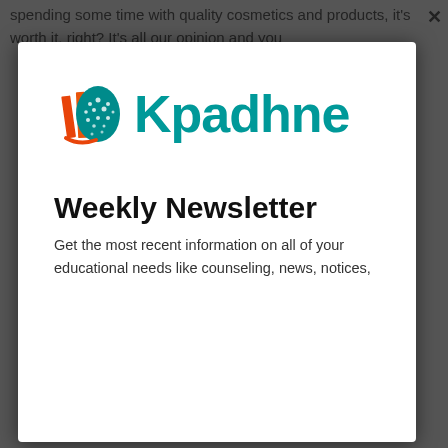spending some time with quality cosmetics and products, it's worth it, right? It's all our opinion and you
[Figure (logo): Kpadhne logo with an open book icon featuring orange bookmark ribbons and a teal/green dotted globe pattern, followed by the text 'Kpadhne' in teal]
Weekly Newsletter
Get the most recent information on all of your educational needs like counseling, news, notices,